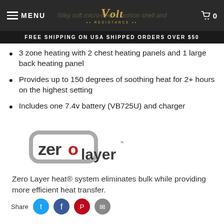MENU | Volt Resistance | Silky soft micro-fleece fashion shell and | 0
FREE SHIPPING ON USA SHIPPED ORDERS OVER $50
3 zone heating with 2 chest heating panels and 1 large back heating panel
Provides up to 150 degrees of soothing heat for 2+ hours on the highest setting
Includes one 7.4v battery (VB725U) and charger
[Figure (logo): Zero Layer logo — rounded rectangle outline in gray with 'zero' text in dark gray and 'layer' in dark gray, with a red 'o' in 'zero', and a trademark symbol]
Zero Layer heat® system eliminates bulk while providing more efficient heat transfer.
Share icons row with social media circles (Twitter, Facebook, Pinterest, Email)